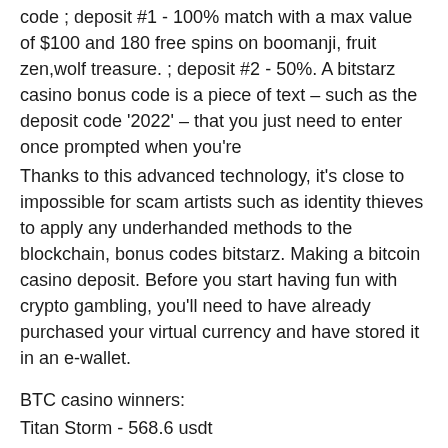code ; deposit #1 - 100% match with a max value of $100 and 180 free spins on boomanji, fruit zen,wolf treasure. ; deposit #2 - 50%. A bitstarz casino bonus code is a piece of text – such as the deposit code '2022' – that you just need to enter once prompted when you're
Thanks to this advanced technology, it's close to impossible for scam artists such as identity thieves to apply any underhanded methods to the blockchain, bonus codes bitstarz. Making a bitcoin casino deposit. Before you start having fun with crypto gambling, you'll need to have already purchased your virtual currency and have stored it in an e-wallet.
BTC casino winners:
Titan Storm - 568.6 usdt
Vikings Fun - 219.9 ltc
Red Cliff - 200 ltc
Alaskan Fishing - 561.6 dog